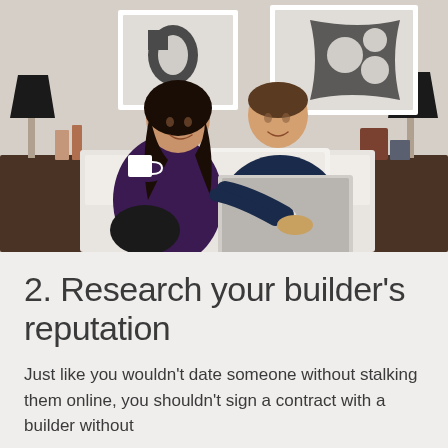[Figure (photo): A couple sitting on a bed, smiling and looking at a laptop. The woman has long dark hair, holds a white mug, and wears a dark purple cardigan. The man wears a navy sweater. The room has two black lamps on dark wood nightstands, white bedding, and two framed abstract artworks on the wall.]
2. Research your builder's reputation
Just like you wouldn't date someone without stalking them online, you shouldn't sign a contract with a builder without